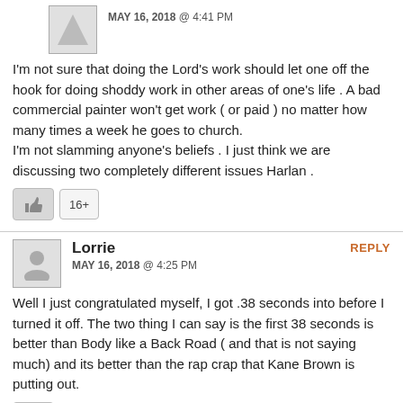MAY 16, 2018 @ 4:41 PM
I'm not sure that doing the Lord's work should let one off the hook for doing shoddy work in other areas of one's life . A bad commercial painter won't get work ( or paid ) no matter how many times a week he goes to church.
I'm not slamming anyone's beliefs . I just think we are discussing two completely different issues Harlan .
16+
Lorrie
MAY 16, 2018 @ 4:25 PM
REPLY
Well I just congratulated myself, I got .38 seconds into before I turned it off. The two thing I can say is the first 38 seconds is better than Body like a Back Road ( and that is not saying much) and its better than the rap crap that Kane Brown is putting out.
5+
Music Jedi
MAY 16, 2018 @ 8:29 PM
REPLY